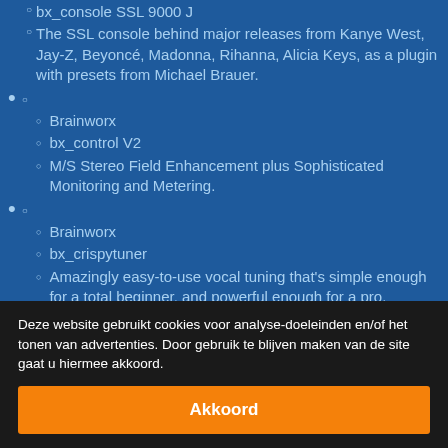The SSL console behind major releases from Kanye West, Jay-Z, Beyoncé, Madonna, Rihanna, Alicia Keys, as a plugin with presets from Michael Brauer.
Brainworx
bx_control V2
M/S Stereo Field Enhancement plus Sophisticated Monitoring and Metering.
Brainworx
bx_crispytuner
Amazingly easy-to-use vocal tuning that's simple enough for a total beginner, and powerful enough for a pro.
Brainworx
bx_delay 2500
Deze website gebruikt cookies voor analyse-doeleinden en/of het tonen van advertenties. Door gebruik te blijven maken van de site gaat u hiermee akkoord.
Akkoord